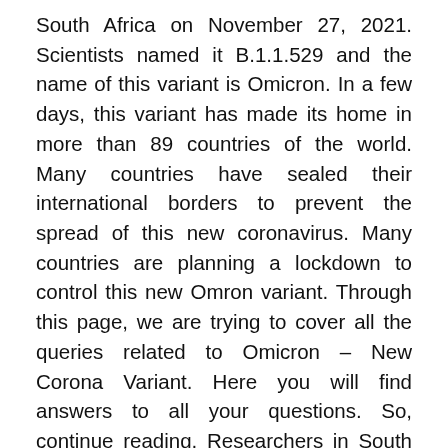South Africa on November 27, 2021. Scientists named it B.1.1.529 and the name of this variant is Omicron. In a few days, this variant has made its home in more than 89 countries of the world. Many countries have sealed their international borders to prevent the spread of this new coronavirus. Many countries are planning a lockdown to control this new Omron variant. Through this page, we are trying to cover all the queries related to Omicron – New Corona Variant. Here you will find answers to all your questions. So, continue reading. Researchers in South Africa as well as around the world are conducting studies to better understand many aspects of omicron and will continue to share the findings of these studies as they become available.